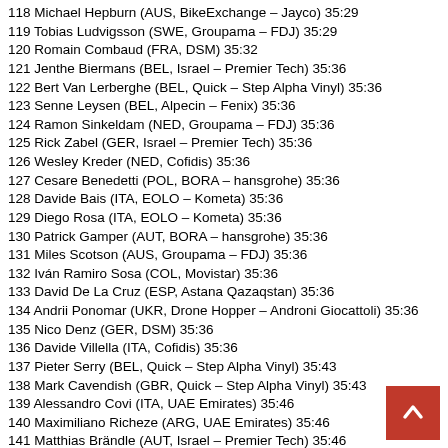118 Michael Hepburn (AUS, BikeExchange – Jayco) 35:29
119 Tobias Ludvigsson (SWE, Groupama – FDJ) 35:29
120 Romain Combaud (FRA, DSM) 35:32
121 Jenthe Biermans (BEL, Israel – Premier Tech) 35:36
122 Bert Van Lerberghe (BEL, Quick – Step Alpha Vinyl) 35:36
123 Senne Leysen (BEL, Alpecin – Fenix) 35:36
124 Ramon Sinkeldam (NED, Groupama – FDJ) 35:36
125 Rick Zabel (GER, Israel – Premier Tech) 35:36
126 Wesley Kreder (NED, Cofidis) 35:36
127 Cesare Benedetti (POL, BORA – hansgrohe) 35:36
128 Davide Bais (ITA, EOLO – Kometa) 35:36
129 Diego Rosa (ITA, EOLO – Kometa) 35:36
130 Patrick Gamper (AUT, BORA – hansgrohe) 35:36
131 Miles Scotson (AUS, Groupama – FDJ) 35:36
132 Iván Ramiro Sosa (COL, Movistar) 35:36
133 David De La Cruz (ESP, Astana Qazaqstan) 35:36
134 Andrii Ponomar (UKR, Drone Hopper – Androni Giocattoli) 35:36
135 Nico Denz (GER, DSM) 35:36
136 Davide Villella (ITA, Cofidis) 35:36
137 Pieter Serry (BEL, Quick – Step Alpha Vinyl) 35:43
138 Mark Cavendish (GBR, Quick – Step Alpha Vinyl) 35:43
139 Alessandro Covi (ITA, UAE Emirates) 35:46
140 Maximiliano Richeze (ARG, UAE Emirates) 35:46
141 Matthias Brändle (AUT, Israel – Premier Tech) 35:46
142 Roger Kluge (GER, Lotto Soudal) 35:46
143 Alex Dowsett (GBR, Israel – Premier Tech) 35:46
144 Michael Schwarzmann (GER, Lotto Soudal) 35:46
145 Julius Van Den Berg (NED, EF Education – EasyPost) 35:46